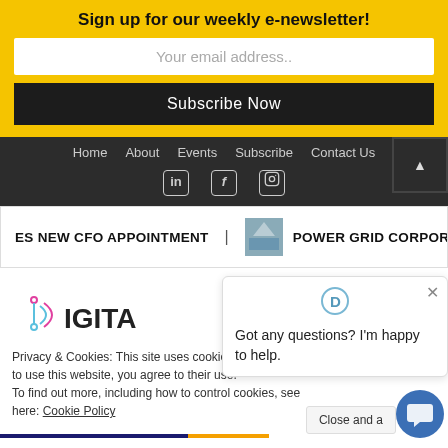Sign up for our weekly e-newsletter!
Your email address..
Subscribe Now
Home  About  Events  Subscribe  Contact Us
ES NEW CFO APPOINTMENT   POWER GRID CORPORATION APPO
[Figure (logo): DIGITA logo with geometric icon]
Privacy & Cookies: This site uses cookies. By continuing to use this website, you agree to their use. To find out more, including how to control cookies, see here: Cookie Policy
Got any questions? I'm happy to help.
Close and a